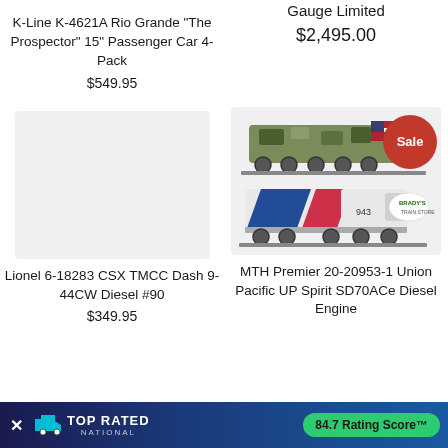K-Line K-4621A Rio Grande "The Prospector" 15" Passenger Car 4-Pack
$549.95
Gauge Limited
$2,495.00
[Figure (photo): Product image placeholder (blank/empty) for Lionel train]
Lionel 6-18283 CSX TMCC Dash 9-44CW Diesel #90
$349.95
[Figure (photo): Photo of MTH Premier 20-20953-1 Union Pacific UP Spirit SD70ACe Diesel Engine model train, two trains visible with camo and US flag decoration on top and blue/red striped UP spirit locomotive on bottom, with Sale badge]
MTH Premier 20-20953-1 Union Pacific UP Spirit SD70ACe Diesel Engine
TOP RATED NATIONAL — 84.7 Rating Score™